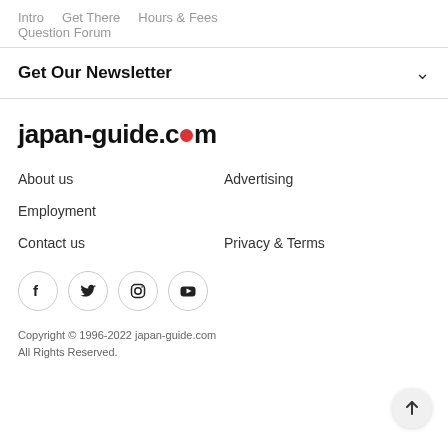Intro  Get There  Hours & Fees  Question Forum
Get Our Newsletter
[Figure (logo): japan-guide.com logo with red circle replacing the 'o' in .com]
About us
Advertising
Employment
Contact us
Privacy & Terms
[Figure (infographic): Social media icons: Facebook, Twitter, Instagram, YouTube — each in a circle]
Copyright © 1996-2022 japan-guide.com
All Rights Reserved.